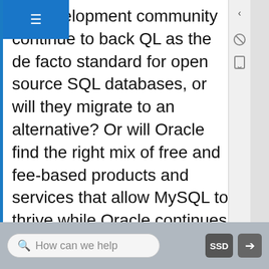he development community continue to back QL as the de facto standard for open source SQL databases, or will they migrate to an alternative? Or will Oracle find the right mix of free and fee-based products and services that allow MySQL to thrive while Oracle continues to grow? The implications are serious for investors, as well as firms that have made commitments to Sun, Oracle, and MySQL products. The complexity of this environment further demonstrates why technologists need business savvy and market monitoring skills and why business folks need to understand the implications of technology and tech-industry developments.